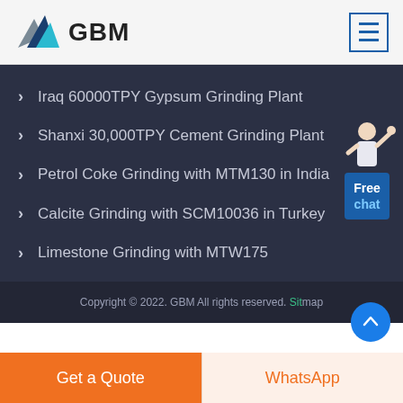[Figure (logo): GBM logo with triangular mountain/arrow shapes in blue and grey, followed by bold text GBM]
Iraq 60000TPY Gypsum Grinding Plant
Shanxi 30,000TPY Cement Grinding Plant
Petrol Coke Grinding with MTM130 in India
Calcite Grinding with SCM10036 in Turkey
Limestone Grinding with MTW175
Copyright © 2022. GBM All rights reserved. Sitemap